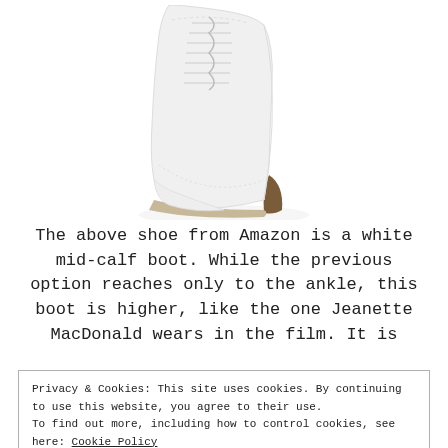[Figure (photo): White mid-calf Victorian-style lace-up boot with a heel, shown from the side on a white background. Only the upper portion of the boot is visible, cropped at the top of the page.]
The above shoe from Amazon is a white mid-calf boot. While the previous option reaches only to the ankle, this boot is higher, like the one Jeanette MacDonald wears in the film. It is
Privacy & Cookies: This site uses cookies. By continuing to use this website, you agree to their use.
To find out more, including how to control cookies, see here: Cookie Policy
Close and accept
front rather than buttons up its side.